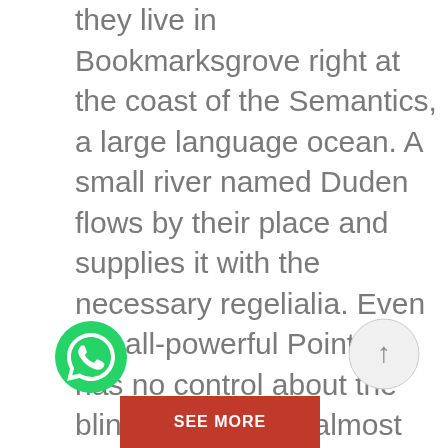they live in Bookmarksgrove right at the coast of the Semantics, a large language ocean. A small river named Duden flows by their place and supplies it with the necessary regelialia. Even the all-powerful Pointing has no control about the blind texts it is an almost unorthographic life One day however a small line of blind text by the name of Lorem Ipsum decided to leave for the far World of Grammar.
[Figure (illustration): WhatsApp green phone icon button]
[Figure (illustration): Scroll-to-top circular button with upward arrow]
[Figure (illustration): Red 'SEE MORE' button]